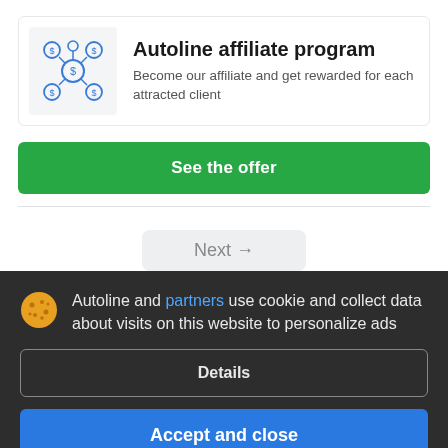[Figure (illustration): Affiliate network icon: a central person figure connected to dollar-sign nodes in a circular network, blue outline on light gray background]
Autoline affiliate program
Become our affiliate and get rewarded for each attracted client
See the offer
Next →
[Figure (illustration): Cookie emoji icon — round yellow cookie with chocolate chip dots]
Autoline and partners use cookie and collect data about visits on this website to personalize ads
Details
Accept and close